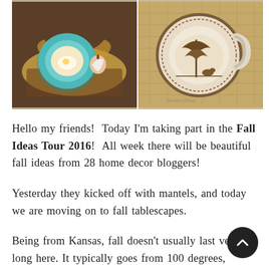[Figure (photo): Two side-by-side fall tablescape photos. Left: a teal/turquoise plate on a wooden tray with fall leaves, a small decorative gourd. Right: a decorative plate with brown transfer print design of a nature scene, on a woven placemat.]
Hello my friends!  Today I'm taking part in the Fall Ideas Tour 2016!  All week there will be beautiful fall ideas from 28 home decor bloggers!
Yesterday they kicked off with mantels, and today we are moving on to fall tablescapes.
Being from Kansas, fall doesn't usually last very long here. It typically goes from 100 degrees, straight to the 50's, with maybe a